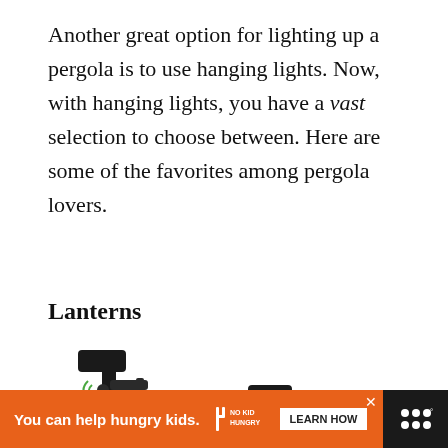Another great option for lighting up a pergola is to use hanging lights. Now, with hanging lights, you have a vast selection to choose between. Here are some of the favorites among pergola lovers.
Lanterns
[Figure (photo): Two black outdoor wall lanterns with Edison bulbs and motion sensor icons, shown against a white background]
You can help hungry kids. NO KID HUNGRY LEARN HOW